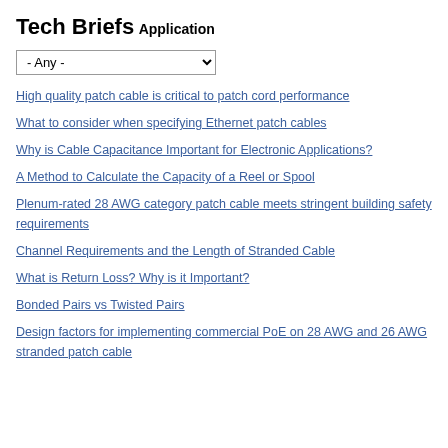Tech Briefs
Application
- Any - [dropdown]
High quality patch cable is critical to patch cord performance
What to consider when specifying Ethernet patch cables
Why is Cable Capacitance Important for Electronic Applications?
A Method to Calculate the Capacity of a Reel or Spool
Plenum-rated 28 AWG category patch cable meets stringent building safety requirements
Channel Requirements and the Length of Stranded Cable
What is Return Loss? Why is it Important?
Bonded Pairs vs Twisted Pairs
Design factors for implementing commercial PoE on 28 AWG and 26 AWG stranded patch cable